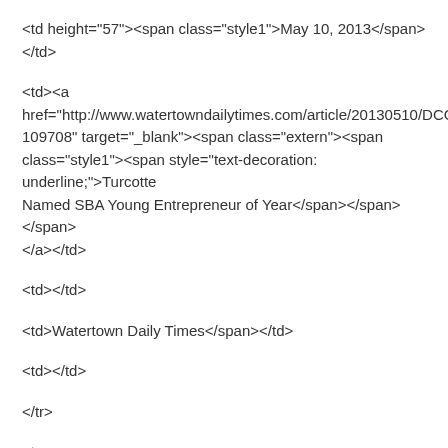<td height="57"><span class="style1">May 10, 2013</span></td>
<td><a href="http://www.watertowndailytimes.com/article/20130510/DCO/705109708" target="_blank"><span class="extern"><span class="style1"><span style="text-decoration: underline;">Turcotte Named SBA Young Entrepreneur of Year</span></span></span></a></td>
<td></td>
<td>Watertown Daily Times</span></td>
<td></td>
</tr>
<tr>